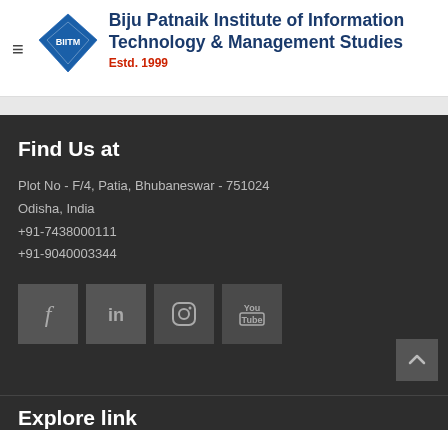Biju Patnaik Institute of Information Technology & Management Studies
Estd. 1999
Find Us at
Plot No - F/4, Patia, Bhubaneswar - 751024
Odisha, India
+91-7438000111
+91-9040003344
[Figure (infographic): Social media icons: Facebook, LinkedIn, Instagram, YouTube]
Explore link